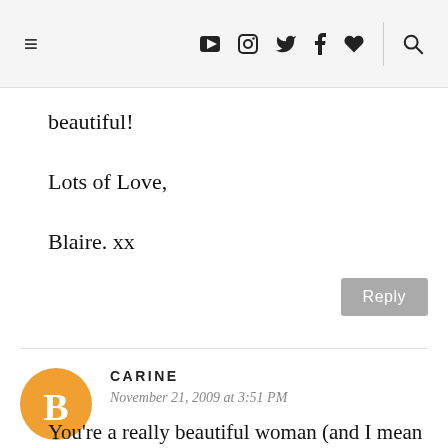≡  ▶ 📷 🐦 f ♥  🔍
beautiful!
Lots of Love,
Blaire. xx
Reply
CARINE
November 21, 2009 at 3:51 PM
You're a really beautiful woman (and I mean it, i don't say that just to be nice^^) so of course, you should love